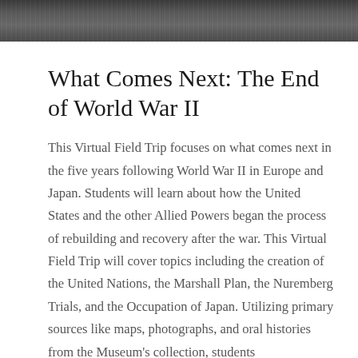[Figure (photo): Black and white historical photograph strip at the top of the page, showing figures in a wartime or post-wartime scene.]
What Comes Next: The End of World War II
This Virtual Field Trip focuses on what comes next in the five years following World War II in Europe and Japan. Students will learn about how the United States and the other Allied Powers began the process of rebuilding and recovery after the war. This Virtual Field Trip will cover topics including the creation of the United Nations, the Marshall Plan, the Nuremberg Trials, and the Occupation of Japan. Utilizing primary sources like maps, photographs, and oral histories from the Museum's collection, students